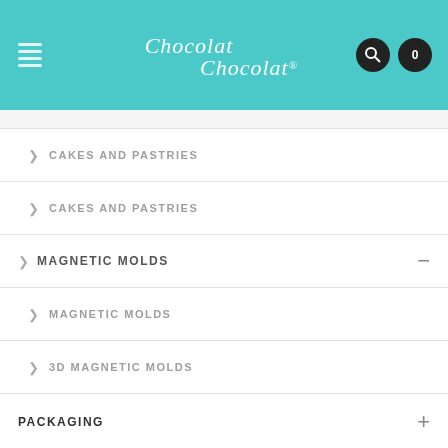[Figure (screenshot): Chocolat Chocolat website header with teal background, hamburger menu, script logo, search icon, and cart icon showing 0]
> CAKES AND PASTRIES
> CAKES AND PASTRIES
> MAGNETIC MOLDS
> MAGNETIC MOLDS
> 3D MAGNETIC MOLDS
PACKAGING
PACKAGING ACCESSORIES